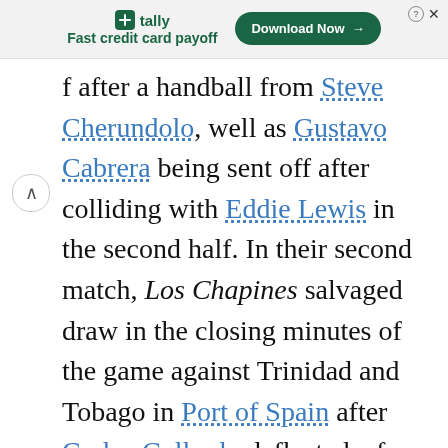[Figure (other): Tally advertisement banner: logo with green icon, text 'tally Fast credit card payoff', and a green 'Download Now →' button. Close/help icons in top right.]
f after a handball from Steve Cherundolo, well as Gustavo Cabrera being sent off after colliding with Eddie Lewis in the second half. In their second match, Los Chapines salvaged draw in the closing minutes of the game against Trinidad and Tobago in Port of Spain after Carlos Gallardo deflected a free kick by Marco Pappa. On 10 September, Cuba shocked the Guatemalan supporters by taking the lea